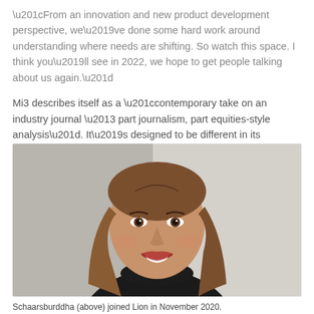“From an innovation and new product development perspective, we've done some hard work around understanding where needs are shifting. So watch this space. I think you'll see in 2022, we hope to get people talking about us again.”
Mi3 describes itself as a “contemporary take on an industry journal – part journalism, part equities-style analysis”. It’s designed to be different in its conversations across the nexus of marketing, agencies, media and tech.
[Figure (photo): Headshot photo of a smiling woman with long straight brown hair, wearing a black turtleneck, against a light grey/beige background.]
Schaarsburddha (above) joined Lion in November 2020.